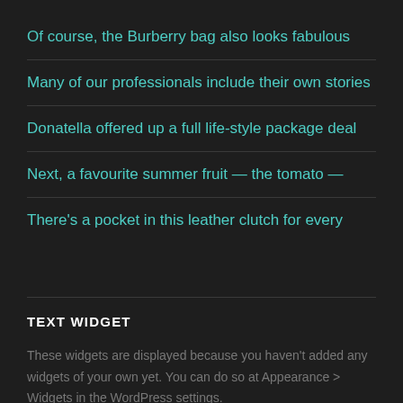Of course, the Burberry bag also looks fabulous
Many of our professionals include their own stories
Donatella offered up a full life-style package deal
Next, a favourite summer fruit — the tomato —
There's a pocket in this leather clutch for every
TEXT WIDGET
These widgets are displayed because you haven't added any widgets of your own yet. You can do so at Appearance > Widgets in the WordPress settings.